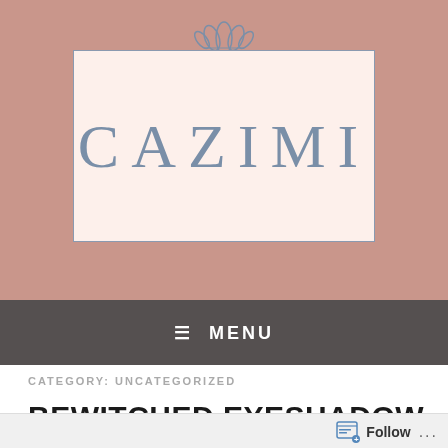[Figure (logo): CAZIMI blog logo with lotus flower above a rectangular banner on pink/mauve background. The word CAZIMI appears in large light blue-grey serif letters inside a cream-colored rectangle with a blue-grey border. A stylized lotus flower SVG sits above the rectangle.]
≡ MENU
CATEGORY: UNCATEGORIZED
BEWITCHED EYESHADOW @ DESIGNER SHOWCASE
Follow ...